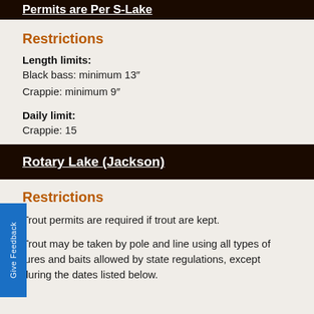Permits are Per S-Lake
Restrictions
Length limits:
Black bass: minimum 13"
Crappie: minimum 9"
Daily limit:
Crappie: 15
Rotary Lake (Jackson)
Restrictions
Trout permits are required if trout are kept.
Trout may be taken by pole and line using all types of lures and baits allowed by state regulations, except during the dates listed below.